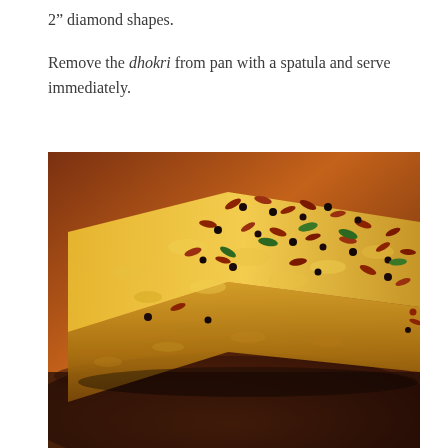2" diamond shapes.

Remove the dhokri from pan with a spatula and serve immediately.
[Figure (photo): Close-up photo of dhokri — a yellow/golden steamed Indian savory cake topped with red-brown seeds (flaxseeds), black mustard seeds, and green curry leaves, served in a dark brown bowl/pan.]